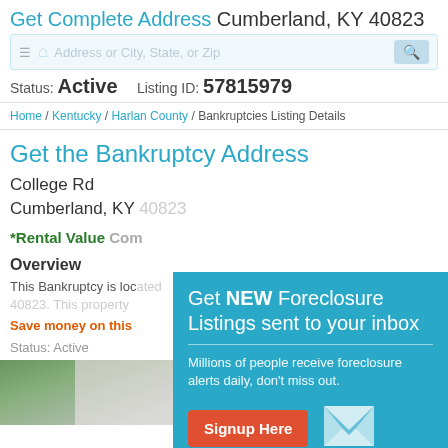Get Complete Address Cumberland, KY 40823
Status: Active    Listing ID: 57815979
Home / Kentucky / Harlan County / Bankruptcies Listing Details
Get the Bankruptcy Address
College Rd
Cumberland, KY 40823
*Rental Value Com...
Overview
This Bankruptcy is loc... 40823. This property...
Save money on this...
Status: Active
[Figure (photo): Property exterior photo, blurred/partially visible]
Get NEW Foreclosure Listings sent to your inbox
Millions of people receive foreclosure alerts daily, don't miss out.
Signup Here
No Thanks | Remind Me Later